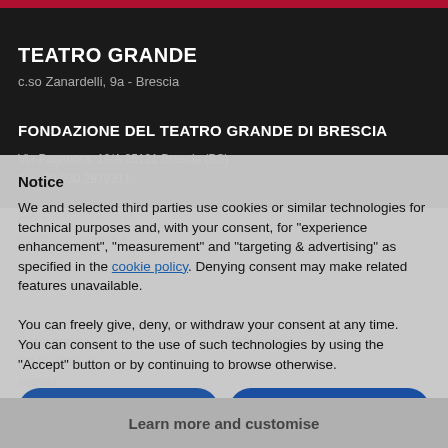TEATRO GRANDE
c.so Zanardelli, 9a - Brescia
FONDAZIONE DEL TEATRO GRANDE DI BRESCIA
Via Paganora, 19/A 25121 Brescia (BS)
Tel +39 030 2979311
Fax +39 030 2906575
info@teatrogrande.it
Notice
We and selected third parties use cookies or similar technologies for technical purposes and, with your consent, for “experience enhancement”, “measurement” and “targeting & advertising” as specified in the cookie policy. Denying consent may make related features unavailable.
You can freely give, deny, or withdraw your consent at any time.
You can consent to the use of such technologies by using the “Accept” button or by continuing to browse otherwise.
teatro grande
the foundation
season
calendar
news
information
information
Reject
Accept
Learn more and customise